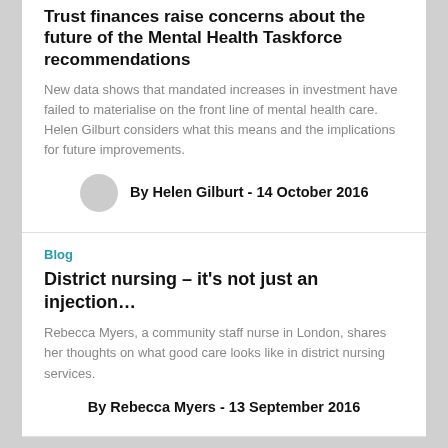Trust finances raise concerns about the future of the Mental Health Taskforce recommendations
New data shows that mandated increases in investment have failed to materialise on the front line of mental health care. Helen Gilburt considers what this means and the implications for future improvements.
By Helen Gilburt - 14 October 2016
Blog
District nursing – it's not just an injection…
Rebecca Myers, a community staff nurse in London, shares her thoughts on what good care looks like in district nursing services.
By Rebecca Myers - 13 September 2016